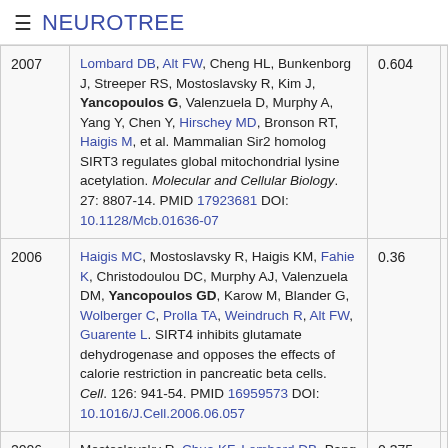≡ NEUROTREE
| Year | Citation | Score |  |
| --- | --- | --- | --- |
| 2007 | Lombard DB, Alt FW, Cheng HL, Bunkenborg J, Streeper RS, Mostoslavsky R, Kim J, Yancopoulos G, Valenzuela D, Murphy A, Yang Y, Chen Y, Hirschey MD, Bronson RT, Haigis M, et al. Mammalian Sir2 homolog SIRT3 regulates global mitochondrial lysine acetylation. Molecular and Cellular Biology. 27: 8807-14. PMID 17923681 DOI: 10.1128/Mcb.01636-07 | 0.604 |  |
| 2006 | Haigis MC, Mostoslavsky R, Haigis KM, Fahie K, Christodoulou DC, Murphy AJ, Valenzuela DM, Yancopoulos GD, Karow M, Blander G, Wolberger C, Prolla TA, Weindruch R, Alt FW, Guarente L. SIRT4 inhibits glutamate dehydrogenase and opposes the effects of calorie restriction in pancreatic beta cells. Cell. 126: 941-54. PMID 16959573 DOI: 10.1016/J.Cell.2006.06.057 | 0.36 |  |
| 2006 | Mostoslavsky R, Chua KF, Lombard DB, Pang WW, ... | 0.375 |  |